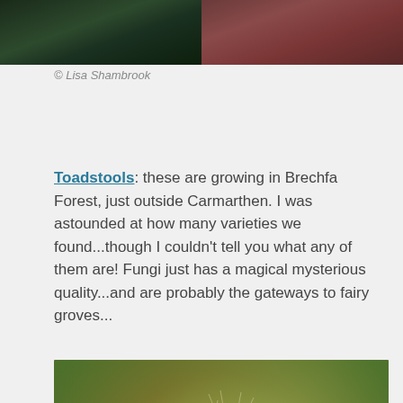[Figure (photo): Two side-by-side photos at top: left shows dark green forest undergrowth, right shows reddish-brown natural scene]
© Lisa Shambrook
Toadstools: these are growing in Brechfa Forest, just outside Carmarthen. I was astounded at how many varieties we found...though I couldn't tell you what any of them are! Fungi just has a magical mysterious quality...and are probably the gateways to fairy groves...
[Figure (photo): Close-up macro photograph of wispy dried plant seed heads or grasses with feathery filaments, warm golden-brown tones with green bokeh background]